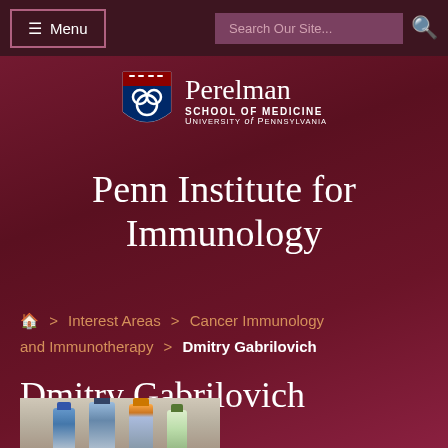≡ Menu | Search Our Site...
[Figure (logo): Perelman School of Medicine, University of Pennsylvania shield logo with navy and red crest]
Penn Institute for Immunology
🏠 > Interest Areas > Cancer Immunology and Immunotherapy > Dmitry Gabrilovich
Dmitry Gabrilovich
[Figure (photo): Photo of laboratory bottles/flasks on a shelf]